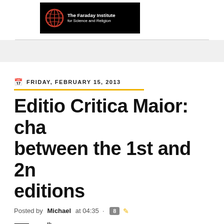[Figure (logo): The Faraday Institute for Science and Religion logo on black background with globe emblem]
FRIDAY, FEBRUARY 15, 2013
Editio Critica Maior: changes between the 1st and 2nd editions
Posted by Michael at 04:35 · 8
The 28th edition of the Nestle-Aland text presents, for the G...